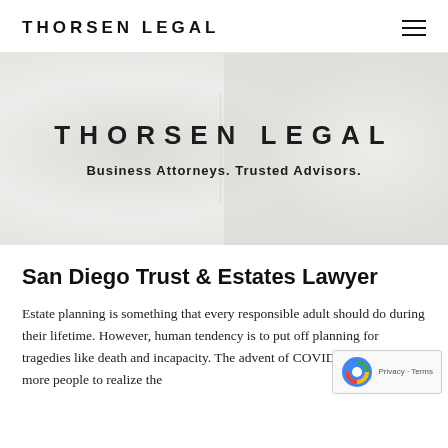THORSEN LEGAL
[Figure (screenshot): Hero banner with textured light gray background showing THORSEN LEGAL in large spaced uppercase letters and tagline 'Business Attorneys. Trusted Advisors.']
San Diego Trust & Estates Lawyer
Estate planning is something that every responsible adult should do during their lifetime. However, human tendency is to put off planning for tragedies like death and incapacity. The advent of COVID-19 has caused more people to realize the